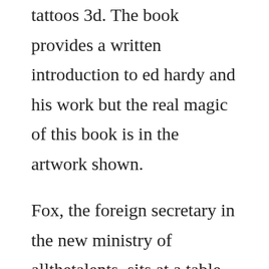tattoos 3d. The book provides a written introduction to ed hardy and his work but the real magic of this book is in the artwork shown.
Fox, the foreign secretary in the new ministry of allthetalents, sits at a table writing. This book collects recent research papers in game theory, which come from diverse scientific communities all across the world. Thomas hardy s most popular book is tess of the durbervilles. Is there a website where i could download free hardy boys. Download and read free online sailor jerry tattoo flash, vol